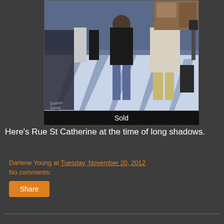[Figure (photo): Oil painting of people walking on Rue St Catherine in winter with long shadows and snow on the ground. A person in a black jacket walks in the center, another in a white coat to the right. Storefronts and signs visible in background.]
Sold
Here's Rue St Catherine at the time of long shadows.
Darlene Young at Tuesday, November 20, 2012
No comments:
Share